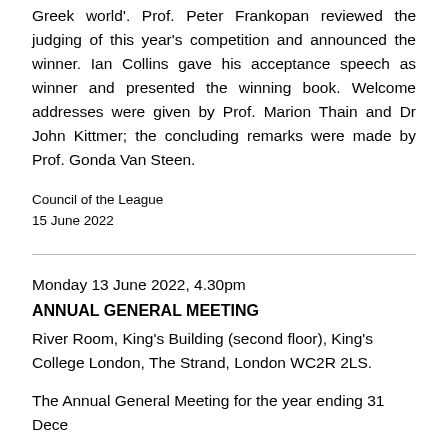Greek world'. Prof. Peter Frankopan reviewed the judging of this year's competition and announced the winner. Ian Collins gave his acceptance speech as winner and presented the winning book. Welcome addresses were given by Prof. Marion Thain and Dr John Kittmer; the concluding remarks were made by Prof. Gonda Van Steen.
Council of the League
15 June 2022
Monday 13 June 2022, 4.30pm
ANNUAL GENERAL MEETING
River Room, King's Building (second floor), King's College London, The Strand, London WC2R 2LS.
The Annual General Meeting for the year ending 31 Dece